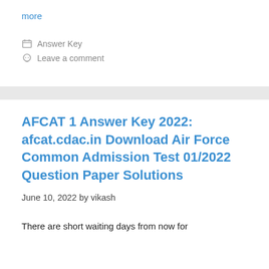more
Answer Key
Leave a comment
AFCAT 1 Answer Key 2022: afcat.cdac.in Download Air Force Common Admission Test 01/2022 Question Paper Solutions
June 10, 2022 by vikash
There are short waiting days from now for